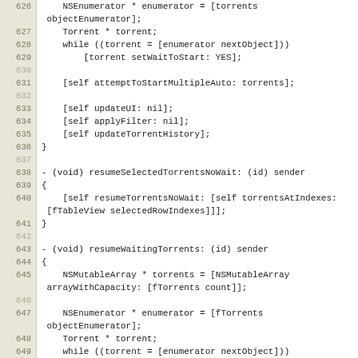[Figure (screenshot): Source code listing showing Objective-C methods for resuming torrents, lines 626-654. Lines include NSEnumerator, Torrent loops with setWaitToStart, attemptToStartMultipleAuto, updateUI, applyFilter, updateTorrentHistory, resumeSelectedTorrentsNoWait, resumeWaitingTorrents, NSMutableArray with arrayWithCapacity, NSEnumerator with objectEnumerator, while loop with waitingToStart check, addObject, and resumeTorrentsNoWait calls.]